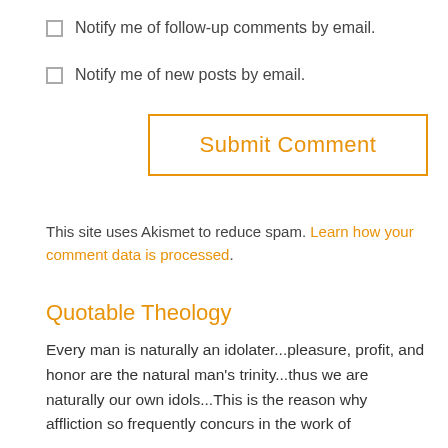Notify me of follow-up comments by email.
Notify me of new posts by email.
Submit Comment
This site uses Akismet to reduce spam. Learn how your comment data is processed.
Quotable Theology
Every man is naturally an idolater...pleasure, profit, and honor are the natural man’s trinity...thus we are naturally our own idols...This is the reason why affliction so frequently concurs in the work of